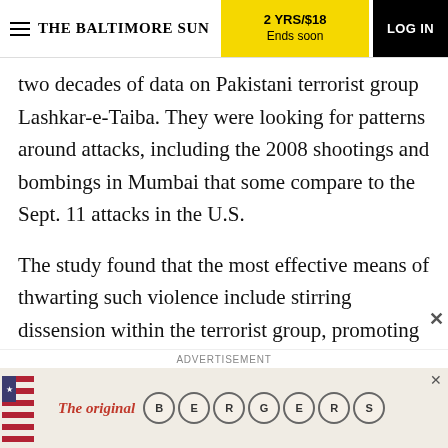THE BALTIMORE SUN | 2 YRS/$18 Ends soon | LOG IN
two decades of data on Pakistani terrorist group Lashkar-e-Taiba. They were looking for patterns around attacks, including the 2008 shootings and bombings in Mumbai that some compare to the Sept. 11 attacks in the U.S.
The study found that the most effective means of thwarting such violence include stirring dissension within the terrorist group, promoting government crackdowns on its activity and thwarting recruitment
[Figure (screenshot): Advertisement banner for The original BERGERS with American flag imagery and circular letter logos. Includes a close (X) button.]